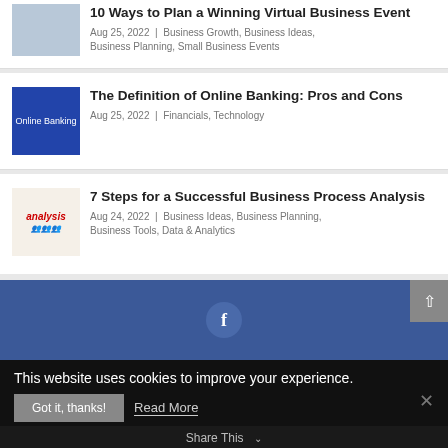10 Ways to Plan a Winning Virtual Business Event | Aug 25, 2022 | Business Growth, Business Ideas, Business Planning, Small Business Events
The Definition of Online Banking: Pros and Cons | Aug 25, 2022 | Financials, Technology
7 Steps for a Successful Business Process Analysis | Aug 24, 2022 | Business Ideas, Business Planning, Business Tools, Data & Analytics
[Figure (screenshot): Facebook share widget with blue background and 'f' icon circle]
This website uses cookies to improve your experience.
Got it, thanks! | Read More
Share This